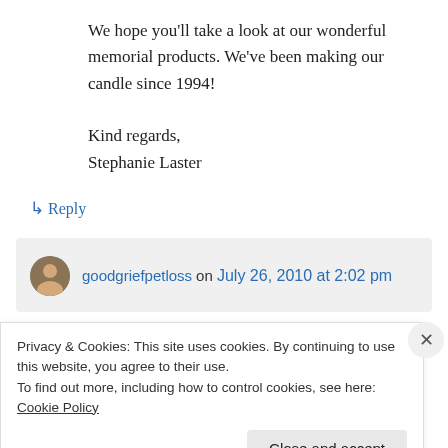We hope you'll take a look at our wonderful memorial products. We've been making our candle since 1994!

Kind regards,
Stephanie Laster
↳ Reply
goodgriefpetloss on July 26, 2010 at 2:02 pm
Privacy & Cookies: This site uses cookies. By continuing to use this website, you agree to their use.
To find out more, including how to control cookies, see here: Cookie Policy